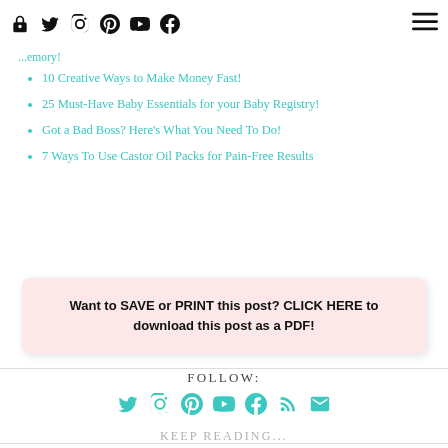[social icons: lock, twitter, instagram, pinterest, youtube, facebook] [hamburger menu]
...emory!
10 Creative Ways to Make Money Fast!
25 Must-Have Baby Essentials for your Baby Registry!
Got a Bad Boss? Here's What You Need To Do!
7 Ways To Use Castor Oil Packs for Pain-Free Results
Want to SAVE or PRINT this post? CLICK HERE to download this post as a PDF!
FOLLOW:
[Figure (infographic): Row of teal social media icons: Twitter, Instagram, Pinterest, YouTube, Facebook, RSS, Email]
KEEP READING...